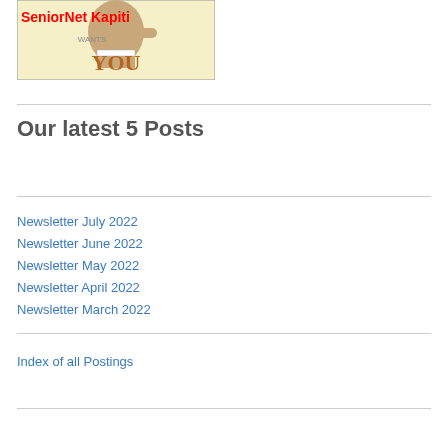[Figure (illustration): Uncle Sam style poster image with text 'SeniorNet Kapiti WANTS YOU']
Our latest 5 Posts
Newsletter July 2022
Newsletter June 2022
Newsletter May 2022
Newsletter April 2022
Newsletter March 2022
Index of all Postings